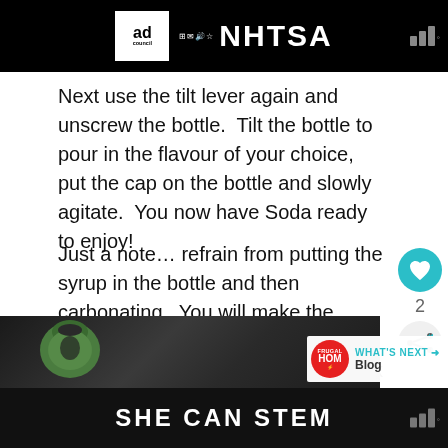[Figure (logo): Ad Council and NHTSA logo on black banner at top]
Next use the tilt lever again and unscrew the bottle.  Tilt the bottle to pour in the flavour of your choice, put the cap on the bottle and slowly agitate.  You now have Soda ready to enjoy!
Just a note… refrain from putting the syrup in the bottle and then carbonating.  You will make the biggest mess of your life… including your first birthday.  Seriously, I speak from experience.
[Figure (photo): Photo of a green soda maker bottle/carbonation device]
[Figure (logo): SHE CAN STEM advertisement banner in black at bottom]